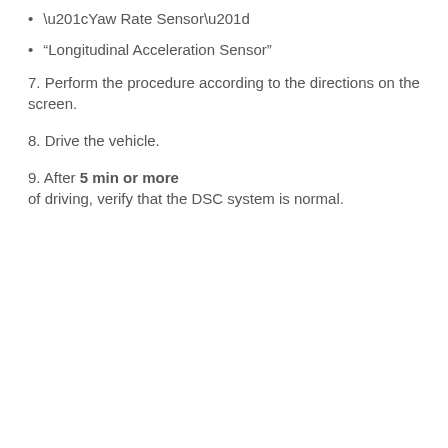“Yaw Rate Sensor”
“Longitudinal Acceleration Sensor”
7. Perform the procedure according to the directions on the screen.
8. Drive the vehicle.
9. After 5 min or more of driving, verify that the DSC system is normal.